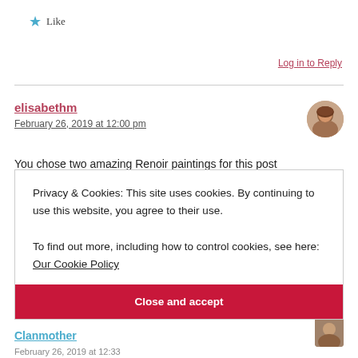★ Like
Log in to Reply
elisabethm
February 26, 2019 at 12:00 pm
[Figure (photo): Avatar of user elisabethm, a woman with brown hair]
You chose two amazing Renoir paintings for this post
Privacy & Cookies: This site uses cookies. By continuing to use this website, you agree to their use.
To find out more, including how to control cookies, see here: Our Cookie Policy
Close and accept
Clanmother
February 26, 2019 at 12:33